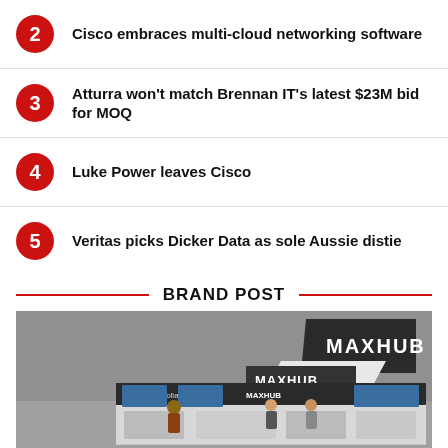2  Cisco embraces multi-cloud networking software
3  Atturra won't match Brennan IT's latest $23M bid for MOQ
4  Luke Power leaves Cisco
5  Veritas picks Dicker Data as sole Aussie distie
BRAND POST
[Figure (photo): MAXHUB trade show booth display with branded signage and exhibition stand design, showing a modern corporate exhibition setup in grey tones]